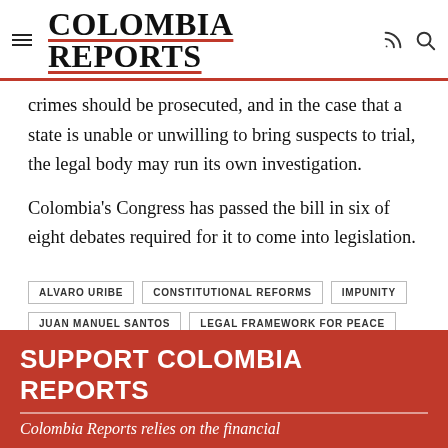COLOMBIA REPORTS
crimes should be prosecuted, and in the case that a state is unable or unwilling to bring suspects to trial, the legal body may run its own investigation.
Colombia's Congress has passed the bill in six of eight debates required for it to come into legislation.
ALVARO URIBE
CONSTITUTIONAL REFORMS
IMPUNITY
JUAN MANUEL SANTOS
LEGAL FRAMEWORK FOR PEACE
SUPPORT COLOMBIA REPORTS
Colombia Reports relies on the financial